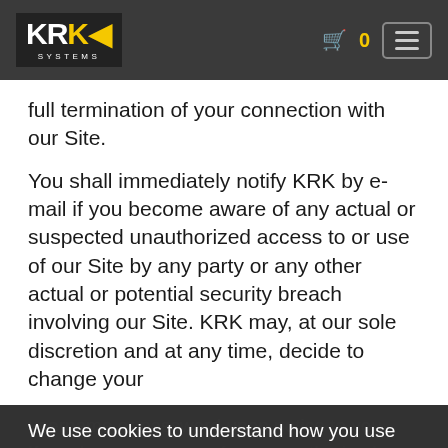KRK Systems — website header with logo, cart icon, and menu button
full termination of your connection with our Site.
You shall immediately notify KRK by e-mail if you become aware of any actual or suspected unauthorized access to or use of our Site by any party or any other actual or potential security breach involving our Site. KRK may, at our sole discretion and at any time, decide to change your
username or password upon notice to you. If you... access... Site... shall (a) immediately cease such information; (b) take reasonable steps to prevent the disclosure of any such unauthorized; immediately inform KRK of this situation by e-mail.
We use cookies to understand how you use our site, give you an awesome experience and deliver our services. By using our site, you acknowledge that you have have read and agree to our Privacy Policy and Terms of Use